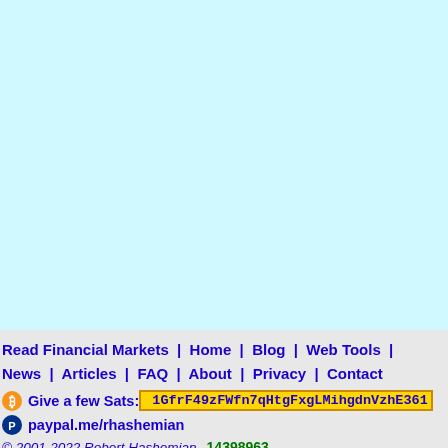Read Financial Markets | Home | Blog | Web Tools | News | Articles | FAQ | About | Privacy | Contact
Give a few Sats: 1GfrF49zFWfn7qHtgFxgLMihgdnVzhE361
paypal.me/rhashemian
© 2001-2022 Robert Hashemian 14398963